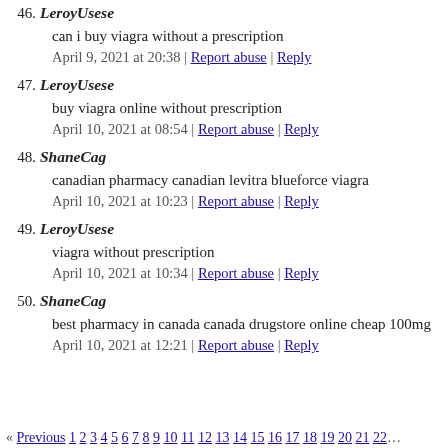46. LeroyUsese
can i buy viagra without a prescription
April 9, 2021 at 20:38 | Report abuse | Reply
47. LeroyUsese
buy viagra online without prescription
April 10, 2021 at 08:54 | Report abuse | Reply
48. ShaneCag
canadian pharmacy canadian levitra blueforce viagra
April 10, 2021 at 10:23 | Report abuse | Reply
49. LeroyUsese
viagra without prescription
April 10, 2021 at 10:34 | Report abuse | Reply
50. ShaneCag
best pharmacy in canada canada drugstore online cheap 100mg
April 10, 2021 at 12:21 | Report abuse | Reply
« Previous 1 2 3 4 5 6 7 8 9 10 11 12 13 14 15 16 17 18 19 20 21 22…